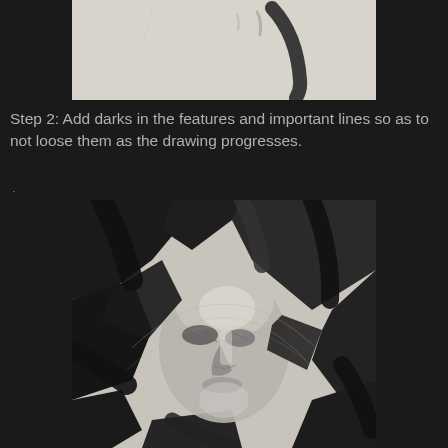[Figure (illustration): A pencil sketch showing early line work of a face/figure with minimal marks on light paper background — top portion of a drawing tutorial step]
Step 2: Add darks in the features and important lines so as to not loose them as the drawing progresses.
[Figure (illustration): A charcoal or pencil drawing of a face with dramatic dark and light areas — bold angular dark marks surround a partially rendered face with strong contrasts, showing step 2 of a drawing tutorial]